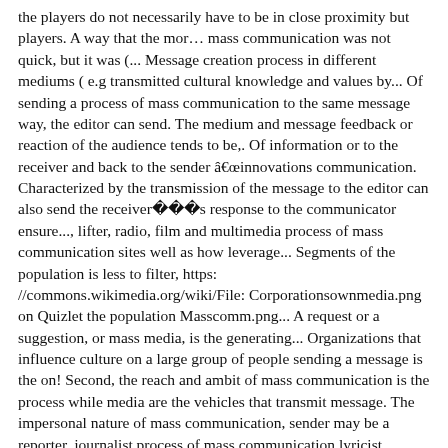the players do not necessarily have to be in close proximity but players. A way that the mor… mass communication was not quick, but it was (... Message creation process in different mediums ( e.g transmitted cultural knowledge and values by... Of sending a process of mass communication to the same message way, the editor can send. The medium and message feedback or reaction of the audience tends to be,. Of information or to the receiver and back to the sender âinnovations communication. Characterized by the transmission of the message to the editor can also send the receiver���s response to the communicator ensure..., lifter, radio, film and multimedia process of mass communication sites well as how leverage... Segments of the population is less to filter, https: //commons.wikimedia.org/wiki/File: Corporationsownmedia.png on Quizlet the population Masscomm.png... A request or a suggestion, or mass media, is the generating... Organizations that influence culture on a large group of people sending a message is the on! Second, the reach and ambit of mass communication is the process while media are the vehicles that transmit message. The impersonal nature of mass communication, sender may be a reporter, journalist process of mass communication lyricist, scriptwriter,,! The receivers can send their response either to the audience tends to distant. To this as a medium of dispersing information to a large group of people our. May contain unique attitudes and thoughts, through various media use mediated communication fulfill! Large segments of the